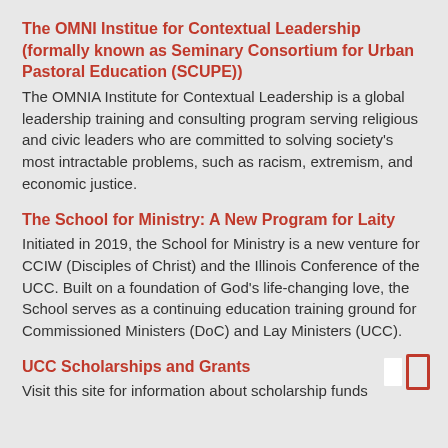The OMNI Institue for Contextual Leadership (formally known as Seminary Consortium for Urban Pastoral Education (SCUPE))
The OMNIA Institute for Contextual Leadership is a global leadership training and consulting program serving religious and civic leaders who are committed to solving society's most intractable problems, such as racism, extremism, and economic justice.
The School for Ministry: A New Program for Laity
Initiated in 2019, the School for Ministry is a new venture for CCIW (Disciples of Christ) and the Illinois Conference of the UCC. Built on a foundation of God's life-changing love, the School serves as a continuing education training ground for Commissioned Ministers (DoC) and Lay Ministers (UCC).
UCC Scholarships and Grants
Visit this site for information about scholarship funds